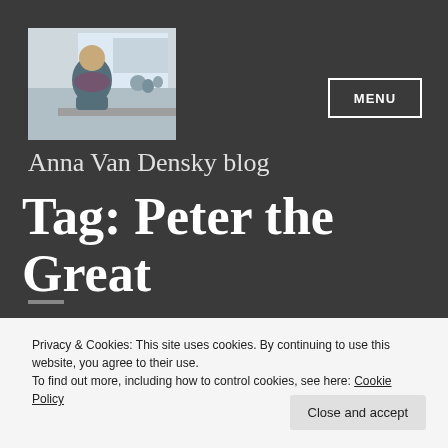[Figure (photo): Photo of Anna Van Densky, a woman seated, in a meeting room setting]
Anna Van Densky blog
Tag: Peter the Great
[Figure (photo): Partial article image with light blue sky background]
Privacy & Cookies: This site uses cookies. By continuing to use this website, you agree to their use.
To find out more, including how to control cookies, see here: Cookie Policy
Close and accept